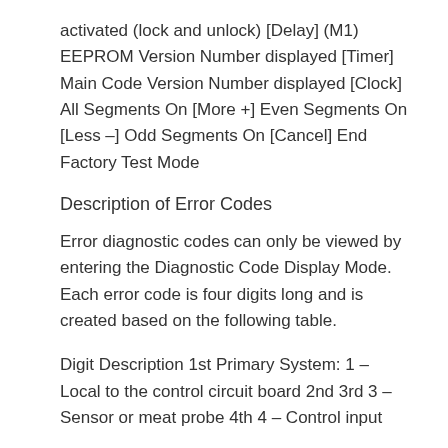activated (lock and unlock) [Delay] (M1) EEPROM Version Number displayed [Timer] Main Code Version Number displayed [Clock] All Segments On [More +] Even Segments On [Less –] Odd Segments On [Cancel] End Factory Test Mode
Description of Error Codes
Error diagnostic codes can only be viewed by entering the Diagnostic Code Display Mode. Each error code is four digits long and is created based on the following table.
Digit Description 1st Primary System: 1 – Local to the control circuit board 2nd 3rd 3 – Sensor or meat probe 4th 4 – Control input
9 – Door lock